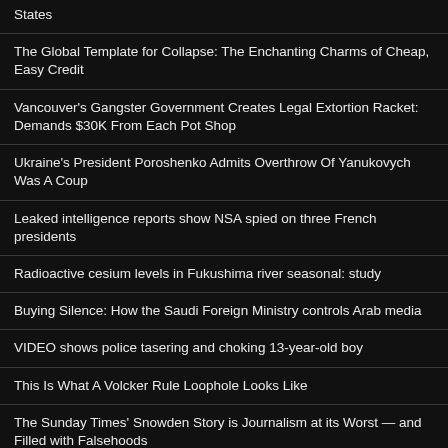States
The Global Template for Collapse: The Enchanting Charms of Cheap, Easy Credit
Vancouver's Gangster Government Creates Legal Extortion Racket: Demands $30K From Each Pot Shop
Ukraine's President Poroshenko Admits Overthrow Of Yanukovych Was A Coup
Leaked intelligence reports show NSA spied on three French presidents
Radioactive cesium levels in Fukushima river seasonal: study
Buying Silence: How the Saudi Foreign Ministry controls Arab media
VIDEO shows police tasering and choking 13-year-old boy
This Is What A Volcker Rule Loophole Looks Like
The Sunday Times' Snowden Story is Journalism at its Worst — and Filled with Falsehoods